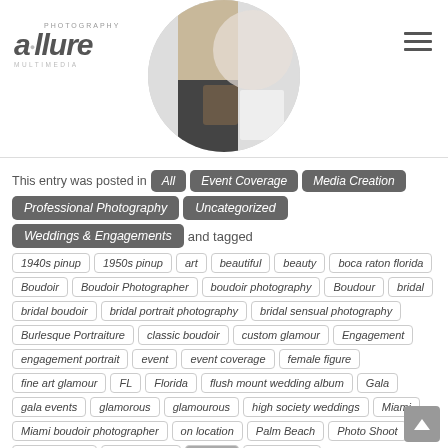[Figure (photo): Allure Photography Multimedia logo in the top-left corner]
[Figure (photo): Circular cropped wedding photo showing couple's hands/dress in the header center]
This entry was posted in All, Event Coverage, Media Creation, Professional Photography, Uncategorized, Weddings & Engagements and tagged
1940s pinup
1950s pinup
art
beautiful
beauty
boca raton florida
Boudoir
Boudoir Photographer
boudoir photography
Boudour
bridal
bridal boudoir
bridal portrait photography
bridal sensual photography
Burlesque Portraiture
classic boudoir
custom glamour
Engagement
engagement portrait
event
event coverage
female figure
fine art glamour
FL
Florida
flush mount wedding album
Gala
gala events
glamorous
glamourous
high society weddings
Miami
Miami boudoir photographer
on location
Palm Beach
Photo Shoot
Photographer
Photography
Portrait
Professional
Professional Photography
Sensual Photography
Sexy